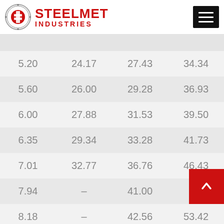STEELMET INDUSTRIES
|  |  |  |  |
| --- | --- | --- | --- |
|  |  |  |  |
| 5.20 | 24.17 | 27.43 | 34.34 |
| 5.60 | 26.00 | 29.28 | 36.93 |
| 6.00 | 27.88 | 31.53 | 39.50 |
| 6.35 | 29.34 | 33.28 | 41.73 |
| 7.01 | 32.77 | 36.76 | 46.43 |
| 7.94 | – | 41.00 |  |
| 8.18 | – | 42.56 | 53.42 |